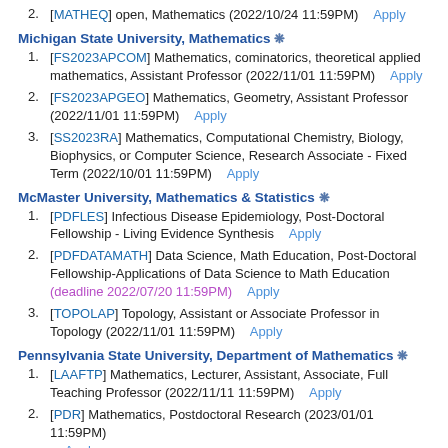2. [MATHEQ] open, Mathematics (2022/10/24 11:59PM)   Apply
Michigan State University, Mathematics *
1. [FS2023APCOM] Mathematics, cominatorics, theoretical applied mathematics, Assistant Professor (2022/11/01 11:59PM)   Apply
2. [FS2023APGEO] Mathematics, Geometry, Assistant Professor (2022/11/01 11:59PM)   Apply
3. [SS2023RA] Mathematics, Computational Chemistry, Biology, Biophysics, or Computer Science, Research Associate - Fixed Term (2022/10/01 11:59PM)   Apply
McMaster University, Mathematics & Statistics *
1. [PDFLES] Infectious Disease Epidemiology, Post-Doctoral Fellowship - Living Evidence Synthesis   Apply
2. [PDFDATAMATH] Data Science, Math Education, Post-Doctoral Fellowship-Applications of Data Science to Math Education (deadline 2022/07/20 11:59PM)   Apply
3. [TOPOLAP] Topology, Assistant or Associate Professor in Topology (2022/11/01 11:59PM)   Apply
Pennsylvania State University, Department of Mathematics *
1. [LAAFTP] Mathematics, Lecturer, Assistant, Associate, Full Teaching Professor (2022/11/11 11:59PM)   Apply
2. [PDR] Mathematics, Postdoctoral Research (2023/01/01 11:59PM)   Apply